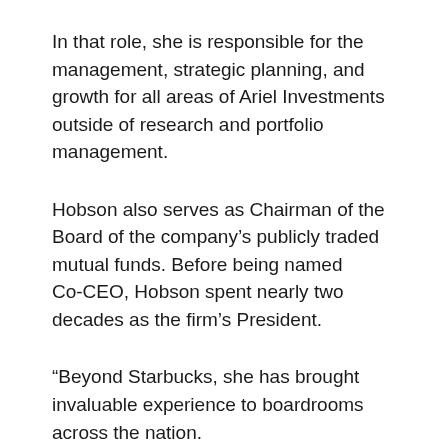In that role, she is responsible for the management, strategic planning, and growth for all areas of Ariel Investments outside of research and portfolio management.
Hobson also serves as Chairman of the Board of the company's publicly traded mutual funds. Before being named Co-CEO, Hobson spent nearly two decades as the firm's President.
“Beyond Starbucks, she has brought invaluable experience to boardrooms across the nation.
She currently serves as a director of JPMorgan Chase,” the company wrote in a news release,